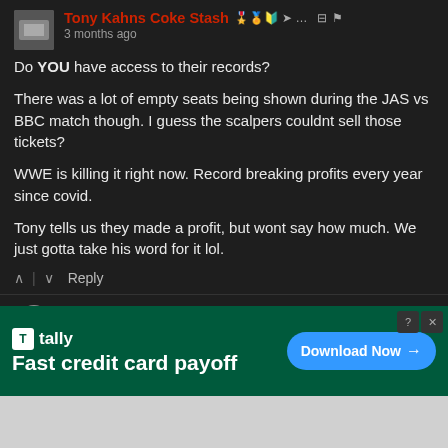Tony Kahns Coke Stash
3 months ago
Do YOU have access to their records?
There was a lot of empty seats being shown during the JAS vs BBC match though. I guess the scalpers couldnt sell those tickets?
WWE is killing it right now. Record breaking profits every year since covid.
Tony tells us they made a profit, but wont say how much. We just gotta take his word for it lol.
RockSuperstar91 → Tony Ka...
[Figure (screenshot): Advertisement banner: Tally app – Fast credit card payoff, with Download Now button]